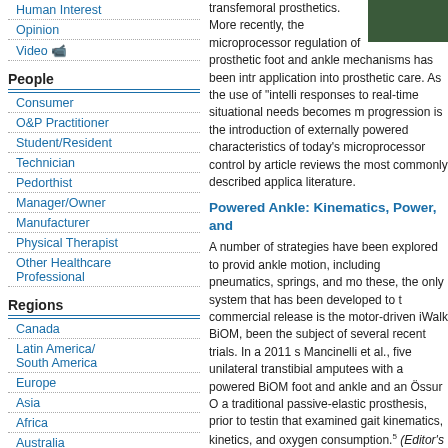Human Interest
Opinion
Video
People
Consumer
O&P Practitioner
Student/Resident
Technician
Pedorthist
Manager/Owner
Manufacturer
Physical Therapist
Other Healthcare Professional
Regions
Canada
Latin America/ South America
Europe
Asia
Africa
Australia
Artículos en Español
transfemoral prosthetics. More recently, the microprocessor regulation of prosthetic foot and ankle mechanisms has been introduced into application into prosthetic care. As the use of "intelligent" responses to real-time situational needs becomes more progression is the introduction of externally powered characteristics of today's microprocessor control by article reviews the most commonly described applic literature.
Powered Ankle: Kinematics, Power, and
A number of strategies have been explored to provide ankle motion, including pneumatics, springs, and mo these, the only system that has been developed to the commercial release is the motor-driven iWalk BiOM, been the subject of several recent trials. In a 2011 s Mancinelli et al., five unilateral transtibial amputees with a powered BiOM foot and ankle and an Össur O a traditional passive-elastic prosthesis, prior to testing that examined gait kinematics, kinetics, and oxygen consumption.⁵ (Editor's note: The Ceterus foot was in February 2011. It was replaced with the Re-Flex the end of 2010.) The BiOM is designed to produce "push-off" event, so it is unsurprising to observe that experienced a mean maximum plantarflexion angle